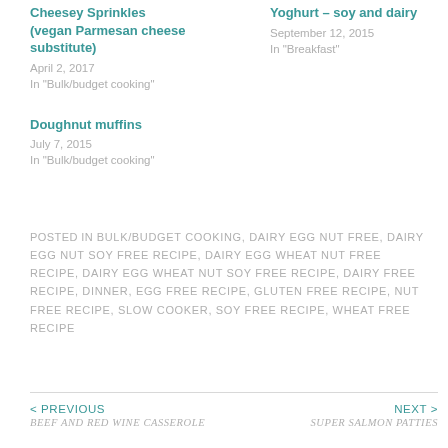Cheesey Sprinkles (vegan Parmesan cheese substitute)
April 2, 2017
In "Bulk/budget cooking"
Yoghurt – soy and dairy
September 12, 2015
In "Breakfast"
Doughnut muffins
July 7, 2015
In "Bulk/budget cooking"
POSTED IN BULK/BUDGET COOKING, DAIRY EGG NUT FREE, DAIRY EGG NUT SOY FREE RECIPE, DAIRY EGG WHEAT NUT FREE RECIPE, DAIRY EGG WHEAT NUT SOY FREE RECIPE, DAIRY FREE RECIPE, DINNER, EGG FREE RECIPE, GLUTEN FREE RECIPE, NUT FREE RECIPE, SLOW COOKER, SOY FREE RECIPE, WHEAT FREE RECIPE
< PREVIOUS
Beef and red wine casserole
NEXT >
Super Salmon patties